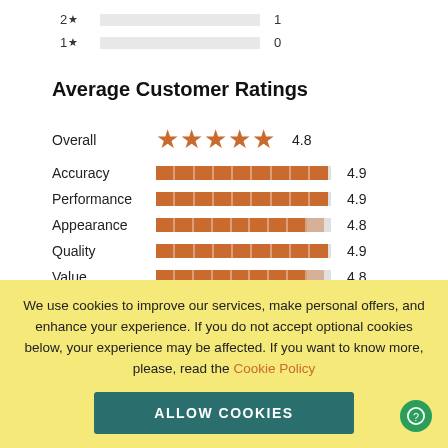[Figure (bar-chart): Star rating histogram (partial)]
Average Customer Ratings
[Figure (bar-chart): Average Customer Ratings]
We use cookies to improve our services, make personal offers, and enhance your experience. If you do not accept optional cookies below, your experience may be affected. If you want to know more, please, read the Cookie Policy
ALLOW COOKIES